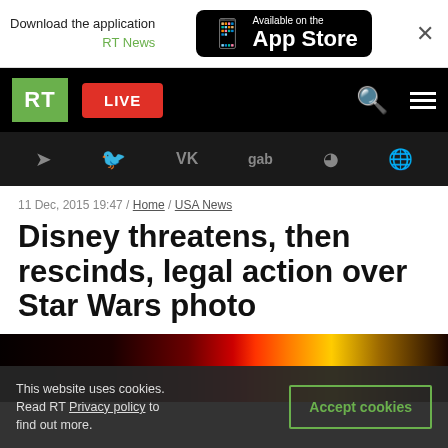Download the application RT News / Available on the App Store
[Figure (screenshot): RT News website navigation bar with green RT logo, red LIVE button, search and menu icons]
[Figure (screenshot): Social media icon bar with Telegram, Twitter, VK, gab, Rumble, and another icon]
11 Dec, 2015 19:47 / Home / USA News
Disney threatens, then rescinds, legal action over Star Wars photo
[Figure (photo): Dark Star Wars lightsaber image showing red and yellow light beams against black background]
This website uses cookies. Read RT Privacy policy to find out more.